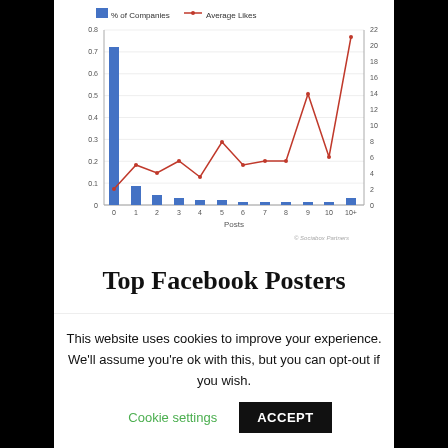[Figure (grouped-bar-chart): ]
Top Facebook Posters
This website uses cookies to improve your experience. We'll assume you're ok with this, but you can opt-out if you wish.
Cookie settings  ACCEPT